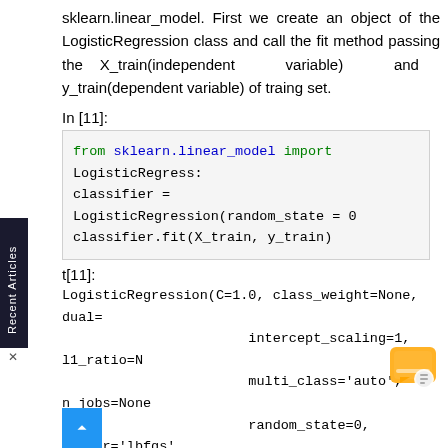sklearn.linear_model. First we create an object of the LogisticRegression class and call the fit method passing the X_train(independent variable) and y_train(dependent variable) of traing set.
In [11]:
[Figure (screenshot): Code cell: from sklearn.linear_model import LogisticRegress:
classifier = LogisticRegression(random_state = 0
classifier.fit(X_train, y_train)]
t[11]:
[Figure (screenshot): Output cell: LogisticRegression(C=1.0, class_weight=None, dual=
                         intercept_scaling=1, l1_ratio=N
                         multi_class='auto', n_jobs=None
                         random_state=0, solver='lbfgs',
                         warm_start=False)]
Predicting a new result
Here, we predict first row in dataset i.e. first cu r veing age 30 and estimated salary 87000. We use two